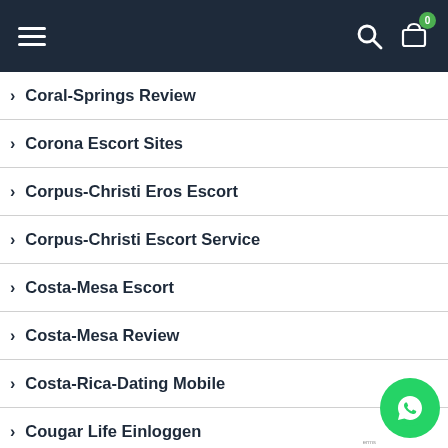Navigation bar with hamburger menu, search icon, and cart icon with badge 0
Coral-Springs Review
Corona Escort Sites
Corpus-Christi Eros Escort
Corpus-Christi Escort Service
Costa-Mesa Escort
Costa-Mesa Review
Costa-Rica-Dating Mobile
Cougar Life Einloggen